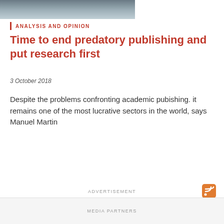[Figure (photo): Partial photo of a person (man in suit), cropped at top of page]
ANALYSIS AND OPINION
Time to end predatory publishing and put research first
3 October 2018
Despite the problems confronting academic pubishing. it remains one of the most lucrative sectors in the world, says Manuel Martin
ADVERTISEMENT
MEDIA PARTNERS